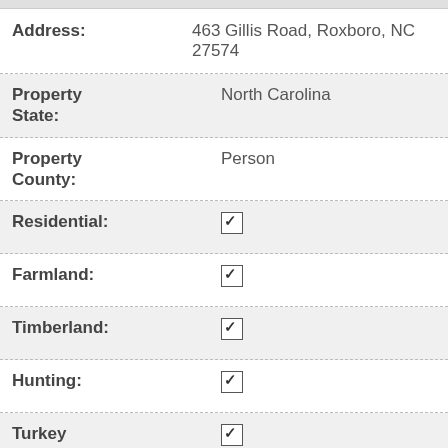Address: 463 Gillis Road, Roxboro, NC 27574
Property State: North Carolina
Property County: Person
Residential: ☑
Farmland: ☑
Timberland: ☑
Hunting: ☑
Turkey Hunting: ☑